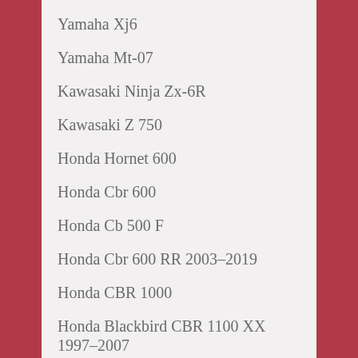Yamaha Xj6
Yamaha Mt-07
Kawasaki Ninja Zx-6R
Kawasaki Z 750
Honda Hornet 600
Honda Cbr 600
Honda Cb 500 F
Honda Cbr 600 RR 2003–2019
Honda CBR 1000
Honda Blackbird CBR 1100 XX  1997–2007
Honda CB1000R  2011–2017
Honda CB599  2004–2006